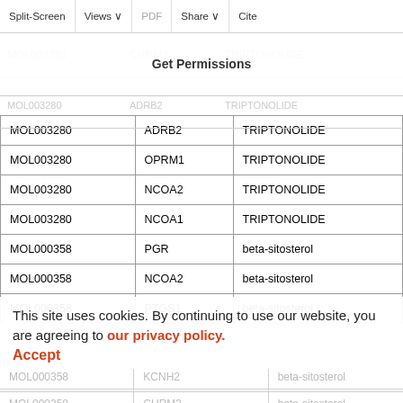Split-Screen | Views | PDF | Share | Cite
Get Permissions
|  |  |  |
| --- | --- | --- |
| MOL003280 | ADRB2 | TRIPTONOLIDE |
| MOL003280 | OPRM1 | TRIPTONOLIDE |
| MOL003280 | NCOA2 | TRIPTONOLIDE |
| MOL003280 | NCOA1 | TRIPTONOLIDE |
| MOL000358 | PGR | beta-sitosterol |
| MOL000358 | NCOA2 | beta-sitosterol |
| MOL000358 | PTGS1 | beta-sitosterol |
| MOL000358 | KCNH2 | beta-sitosterol |
| MOL000358 | CHRM3 | beta-sitosterol |
This site uses cookies. By continuing to use our website, you are agreeing to our privacy policy. Accept